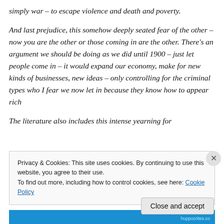simply war – to escape violence and death and poverty.
And last prejudice, this somehow deeply seated fear of the other – now you are the other or those coming in are the other. There's an argument we should be doing as we did until 1900 – just let people come in – it would expand our economy, make for new kinds of businesses, new ideas – only controlling for the criminal types who I fear we now let in because they know how to appear rich
The literature also includes this intense yearning for
Privacy & Cookies: This site uses cookies. By continuing to use this website, you agree to their use.
To find out more, including how to control cookies, see here: Cookie Policy